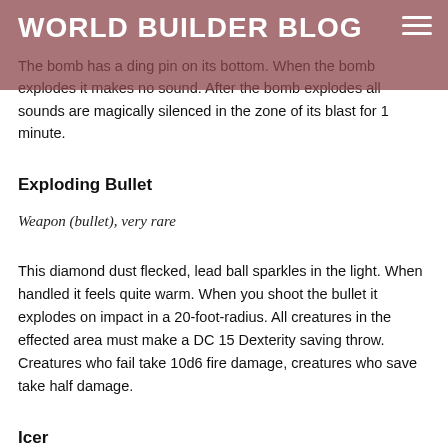WORLD BUILDER BLOG
The bomb has a ding pin on its bottom. When the bomb explodes it makes no sound. After the bomb explodes all sounds are magically silenced in the zone of its blast for 1 minute.
Exploding Bullet
Weapon (bullet), very rare
This diamond dust flecked, lead ball sparkles in the light. When handled it feels quite warm. When you shoot the bullet it explodes on impact in a 20-foot-radius. All creatures in the effected area must make a DC 15 Dexterity saving throw. Creatures who fail take 10d6 fire damage, creatures who save take half damage.
Icer